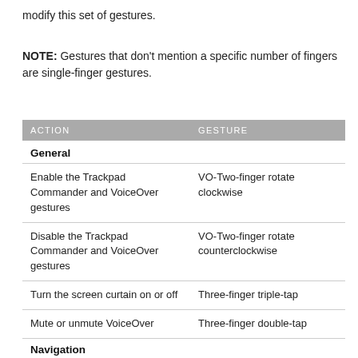modify this set of gestures.
NOTE: Gestures that don't mention a specific number of fingers are single-finger gestures.
| ACTION | GESTURE |
| --- | --- |
| General |  |
| Enable the Trackpad Commander and VoiceOver gestures | VO-Two-finger rotate clockwise |
| Disable the Trackpad Commander and VoiceOver gestures | VO-Two-finger rotate counterclockwise |
| Turn the screen curtain on or off | Three-finger triple-tap |
| Mute or unmute VoiceOver | Three-finger double-tap |
| Navigation |  |